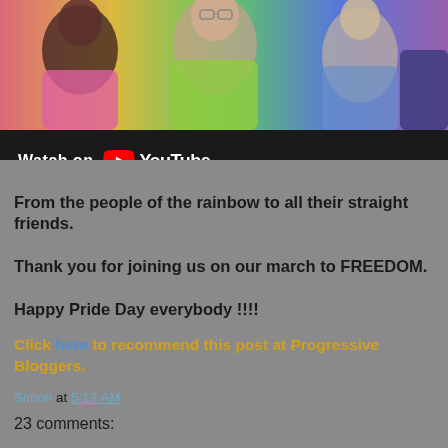[Figure (screenshot): YouTube video thumbnail showing people smiling with a rainbow color overlay, with a 'Watch on YouTube' bar at the bottom of the thumbnail]
From the people of the rainbow to all their straight friends.

Thank you for joining us on our march to FREEDOM.

Happy Pride Day everybody !!!!
Click here to recommend this post at Progressive Bloggers.
Simon at 5:13 AM
23 comments: